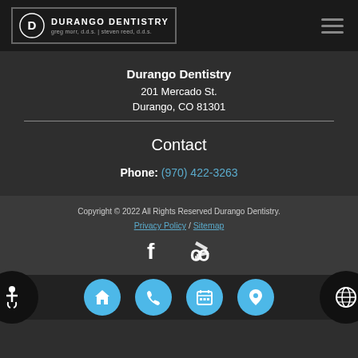[Figure (logo): Durango Dentistry logo with circular D icon, white text on dark background. Text reads: DURANGO DENTISTRY greg morr, d.d.s. | steven reed, d.d.s.]
Durango Dentistry
201 Mercado St.
Durango, CO 81301
Contact
Phone: (970) 422-3263
Copyright © 2022 All Rights Reserved Durango Dentistry.
Privacy Policy /Sitemap
[Figure (other): Facebook and Yelp social media icons in white]
[Figure (other): Bottom navigation bar with 4 blue circular buttons: home, phone, calendar, location. Side circles with accessibility and globe icons.]